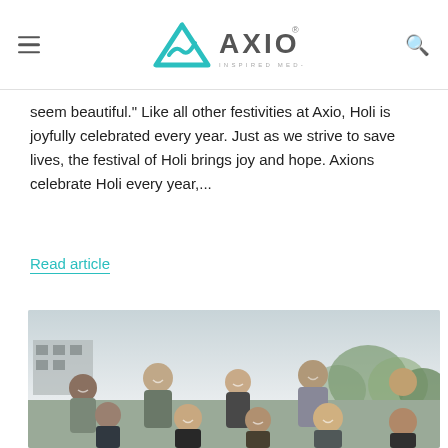AXIO — INSPIRED MED-TECH
seem beautiful." Like all other festivities at Axio, Holi is joyfully celebrated every year. Just as we strive to save lives, the festival of Holi brings joy and hope. Axions celebrate Holi every year,...
Read article
[Figure (photo): Group photo of Axio employees outdoors, smiling, taken during Holi celebration]